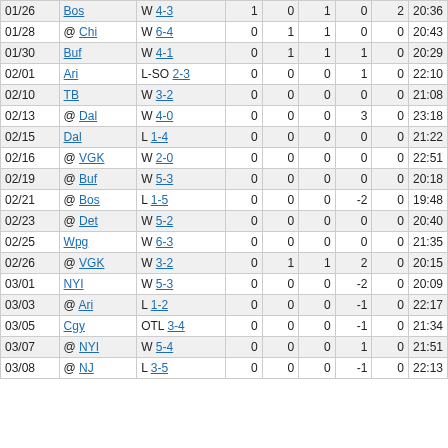| Date | Opp | Result | G | A | Pts | +/- | PIM | TOI |
| --- | --- | --- | --- | --- | --- | --- | --- | --- |
| 01/26 | Bos | W 4-3 | 1 | 0 | 1 | 0 | 2 | 20:36 |
| 01/28 | @ Chi | W 6-4 | 0 | 1 | 1 | 0 | 0 | 20:43 |
| 01/30 | Buf | W 4-1 | 0 | 1 | 1 | 1 | 0 | 20:29 |
| 02/01 | Ari | L-SO 2-3 | 0 | 0 | 0 | 1 | 0 | 22:10 |
| 02/10 | TB | W 3-2 | 0 | 0 | 0 | 0 | 0 | 21:08 |
| 02/13 | @ Dal | W 4-0 | 0 | 0 | 0 | 3 | 0 | 23:18 |
| 02/15 | Dal | L 1-4 | 0 | 0 | 0 | 0 | 0 | 21:22 |
| 02/16 | @ VGK | W 2-0 | 0 | 0 | 0 | 0 | 0 | 22:51 |
| 02/19 | @ Buf | W 5-3 | 0 | 0 | 0 | 0 | 0 | 20:18 |
| 02/21 | @ Bos | L 1-5 | 0 | 0 | 0 | -2 | 0 | 19:48 |
| 02/23 | @ Det | W 5-2 | 0 | 0 | 0 | 0 | 0 | 20:40 |
| 02/25 | Wpg | W 6-3 | 0 | 0 | 0 | 0 | 0 | 21:35 |
| 02/26 | @ VGK | W 3-2 | 0 | 1 | 1 | 2 | 0 | 20:15 |
| 03/01 | NYI | W 5-3 | 0 | 0 | 0 | -2 | 0 | 20:09 |
| 03/03 | @ Ari | L 1-2 | 0 | 0 | 0 | -1 | 0 | 22:17 |
| 03/05 | Cgy | OTL 3-4 | 0 | 0 | 0 | -1 | 0 | 21:34 |
| 03/07 | @ NYI | W 5-4 | 0 | 0 | 0 | 1 | 0 | 21:51 |
| 03/08 | @ NJ | L 3-5 | 0 | 0 | 0 | -1 | 0 | 22:13 |